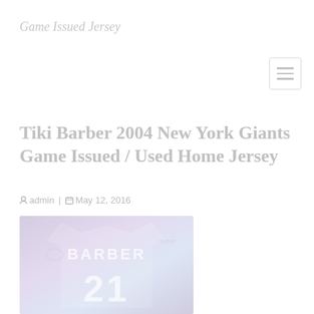Game Issued Jersey
Tiki Barber 2004 New York Giants Game Issued / Used Home Jersey
admin | May 12, 2016
[Figure (photo): Photo of a Tiki Barber New York Giants jersey showing the name BARBER and number 21]